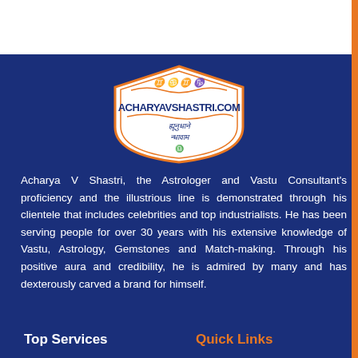[Figure (logo): Acharya V Shastri / AcharyaVShastri.com logo — shield shape with orange decorative border, Sanskrit-style lettering, dark blue and orange color scheme]
Acharya V Shastri, the Astrologer and Vastu Consultant's proficiency and the illustrious line is demonstrated through his clientele that includes celebrities and top industrialists. He has been serving people for over 30 years with his extensive knowledge of Vastu, Astrology, Gemstones and Match-making. Through his positive aura and credibility, he is admired by many and has dexterously carved a brand for himself.
Top Services
Quick Links